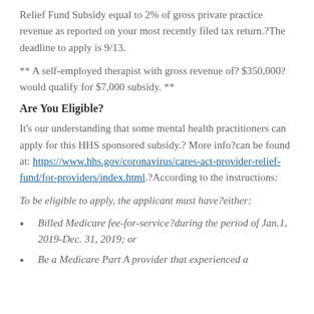Relief Fund Subsidy equal to 2% of gross private practice revenue as reported on your most recently filed tax return.?The deadline to apply is 9/13.
** A self-employed therapist with gross revenue of? $350,000?would qualify for $7,000 subsidy. **
Are You Eligible?
It’s our understanding that some mental health practitioners can apply for this HHS sponsored subsidy.? More info?can be found at: https://www.hhs.gov/coronavirus/cares-act-provider-relief-fund/for-providers/index.html.?According to the instructions:
To be eligible to apply, the applicant must have?either:
Billed Medicare fee-for-service?during the period of Jan.1, 2019-Dec. 31, 2019; or
Be a Medicare Part A provider that experienced a